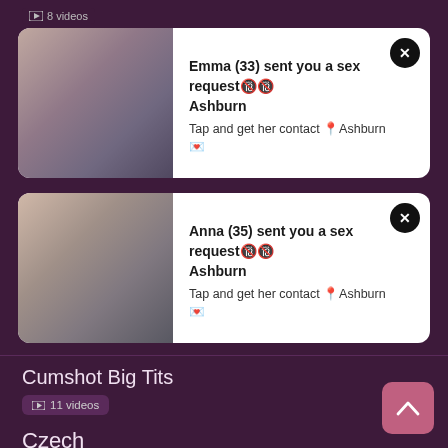🎬 8 videos
[Figure (photo): Notification card 1: Photo of woman on left, text on right reading 'Emma (33) sent you a sex request🔞🔞 Ashburn — Tap and get her contact 📍Ashburn 💌']
[Figure (photo): Notification card 2: Photo of woman on left, text on right reading 'Anna (35) sent you a sex request🔞🔞 Ashburn — Tap and get her contact 📍Ashburn 💌']
Cumshot
🎬 27 videos
Cumshot Big Tits
🎬 11 videos
Czech